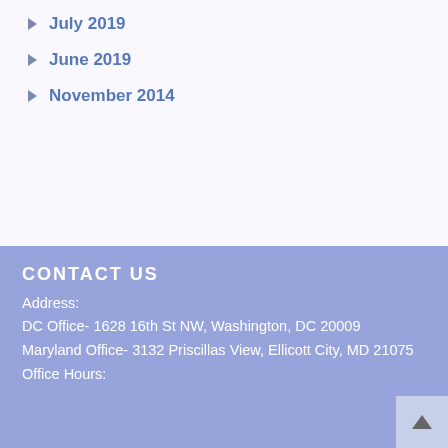July 2019
June 2019
November 2014
CONTACT US
Address:
DC Office- 1628 16th St NW, Washington, DC 20009
Maryland Office- 3132 Priscillas View, Ellicott City, MD 21075
Office Hours: